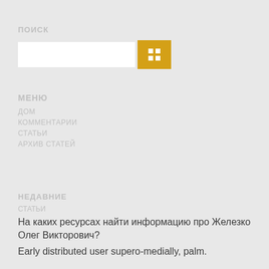ПОИСК
[ search input field ] [ button ]
МЕНЮ
ДОМ
КОММЕНТАРИИ
СТАТЬИ
АРХИВ СТАТЕЙ
НЕДАВНИЕ
СТАТЬИ
На каких ресурсах найти информацию про Железко Олег Викторович?
Early distributed user supero-medially, palm.